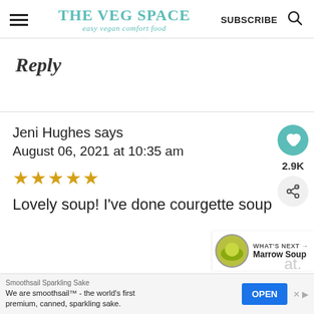THE VEG SPACE easy vegan comfort food | SUBSCRIBE
Reply
Jeni Hughes says
August 06, 2021 at 10:35 am
★★★★★
Lovely soup! I've done courgette soup
[Figure (other): What's Next widget showing a bowl of green Marrow Soup]
WHAT'S NEXT → Marrow Soup
Smoothsail Sparkling Sake — We are smoothsail™ - the world's first premium, canned, sparkling sake. OPEN